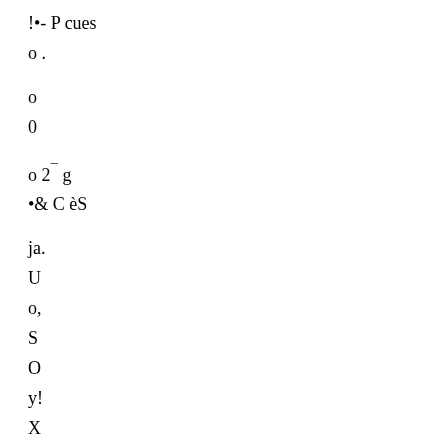!•- P cues
o .
o
0
o 2¯ g
•& C èS
ja.
U
o,
S
O
y!
X
X
x